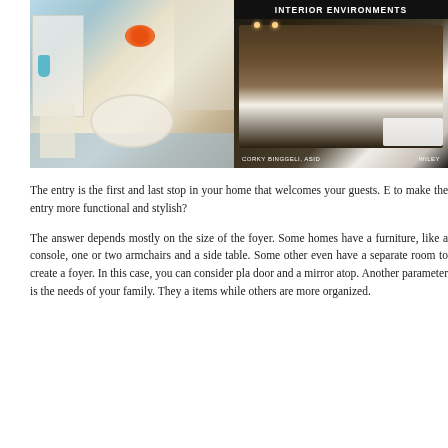[Figure (photo): Two side-by-side interior design photos. Left: a white dining set with round table and chairs on a blue floor with a white cabinet. Right: a dark modern interior with open living/dining space and sofa, with 'INTERIOR ENVIRONMENTS' banner at top and 'CORKY BINGGELI, ASID' and 'WILEY' credits at bottom.]
The entry is the first and last stop in your home that welcomes your guests. E to make the entry more functional and stylish?
The answer depends mostly on the size of the foyer. Some homes have a furniture, like a console, one or two armchairs and a side table. Some other even have a separate room to create a foyer. In this case, you can consider pla door and a mirror atop. Another parameter is the needs of your family. They a items while others are more organized.